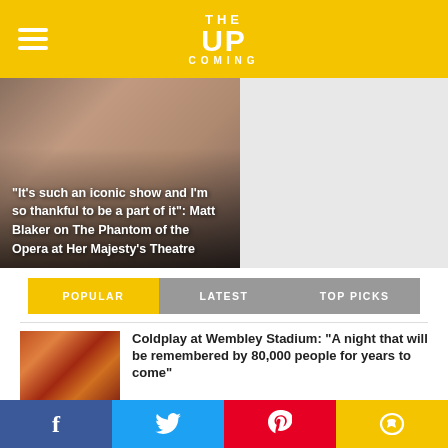THE UPCOMING
[Figure (photo): Close-up face of Matt Blaker with overlay text about The Phantom of the Opera at Her Majesty's Theatre]
“It’s such an iconic show and I’m so thankful to be a part of it”: Matt Blaker on The Phantom of the Opera at Her Majesty’s Theatre
POPULAR | LATEST | TOP PICKS
[Figure (photo): Coldplay performing at Wembley Stadium, colorful concert scene]
Coldplay at Wembley Stadium: “A night that will be remembered by 80,000 people for years to come”
[Figure (photo): Two performers on stage at Camden Fringe 2022, dark background with red lighting]
Camden Fringe 2022: The Man Who Wouldn’t Be Murdered at Lion & Unicorn Theatre
Facebook Twitter Pinterest Comments